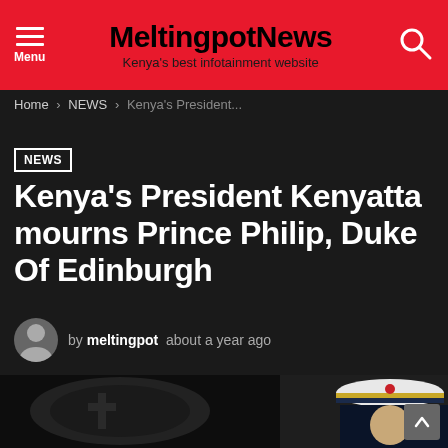MeltingpotNews — Kenya's best infotainment website
Home › NEWS › Kenya's President...
NEWS
Kenya's President Kenyatta mourns Prince Philip, Duke Of Edinburgh
by meltingpot   about a year ago
[Figure (photo): Photograph of Prince Philip in naval admiral uniform with white peaked cap, against dark background with heraldic crest]